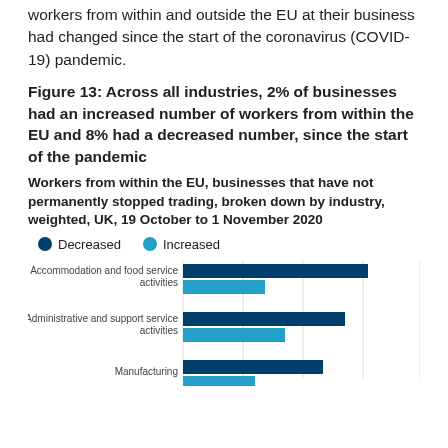workers from within and outside the EU at their business had changed since the start of the coronavirus (COVID-19) pandemic.
Figure 13: Across all industries, 2% of businesses had an increased number of workers from within the EU and 8% had a decreased number, since the start of the pandemic
Workers from within the EU, businesses that have not permanently stopped trading, broken down by industry, weighted, UK, 19 October to 1 November 2020
[Figure (grouped-bar-chart): Workers from within the EU by industry]